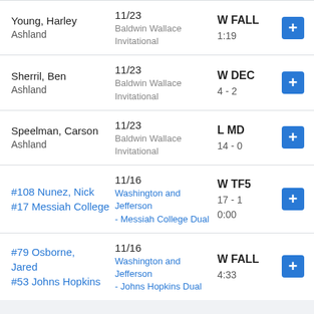| Opponent | Event | Result |  |
| --- | --- | --- | --- |
| Young, Harley
Ashland | 11/23
Baldwin Wallace Invitational | W FALL
1:19 | + |
| Sherril, Ben
Ashland | 11/23
Baldwin Wallace Invitational | W DEC
4 - 2 | + |
| Speelman, Carson
Ashland | 11/23
Baldwin Wallace Invitational | L MD
14 - 0 | + |
| #108 Nunez, Nick
#17 Messiah College | 11/16
Washington and Jefferson - Messiah College Dual | W TF5
17 - 1
0:00 | + |
| #79 Osborne, Jared
#53 Johns Hopkins | 11/16
Washington and Jefferson - Johns Hopkins Dual | W FALL
4:33 | + |